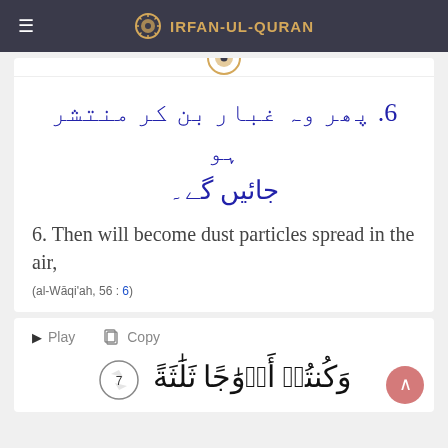IRFAN-UL-QURAN
6. پھر وہ غبار بن کر منتشر ہو جائیں گے۔
6. Then will become dust particles spread in the air,
(al-Wāqi'ah, 56 : 6)
Play  Copy
وَكُنتُمۡ أَزۡوَٰجًا ثَلَٰثَةً ۞ (٧)